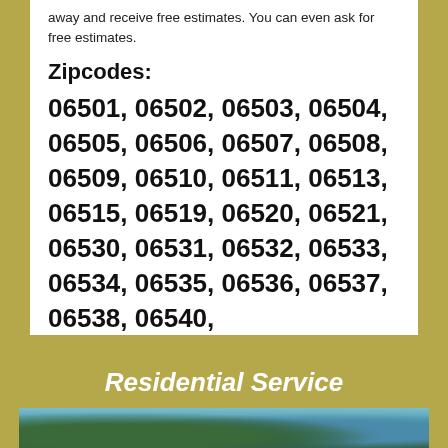away and receive free estimates. You can even ask for free estimates.
Zipcodes:
06501, 06502, 06503, 06504, 06505, 06506, 06507, 06508, 06509, 06510, 06511, 06513, 06515, 06519, 06520, 06521, 06530, 06531, 06532, 06533, 06534, 06535, 06536, 06537, 06538, 06540,
Residential Service
[Figure (photo): Photo of residential house exterior with trees and blue sky]